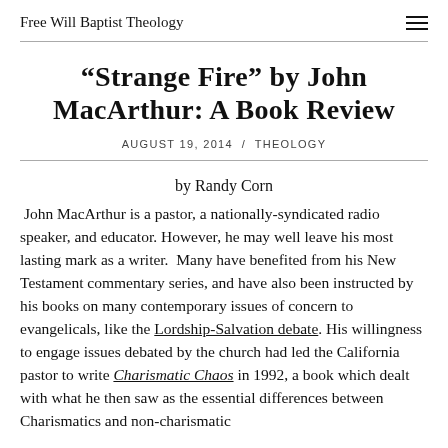Free Will Baptist Theology
“Strange Fire” by John MacArthur: A Book Review
AUGUST 19, 2014 / THEOLOGY
by Randy Corn
John MacArthur is a pastor, a nationally-syndicated radio speaker, and educator. However, he may well leave his most lasting mark as a writer.  Many have benefited from his New Testament commentary series, and have also been instructed by his books on many contemporary issues of concern to evangelicals, like the Lordship-Salvation debate. His willingness to engage issues debated by the church had led the California pastor to write Charismatic Chaos in 1992, a book which dealt with what he then saw as the essential differences between Charismatics and non-charismatic